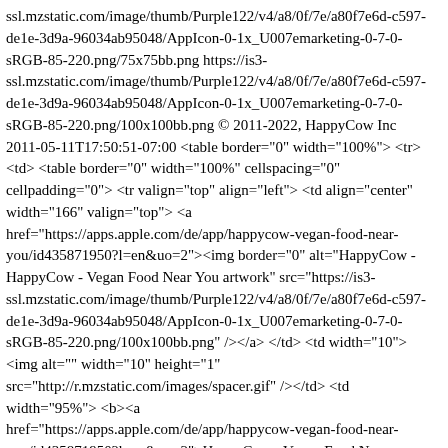ssl.mzstatic.com/image/thumb/Purple122/v4/a8/0f/7e/a80f7e6d-c597-de1e-3d9a-96034ab95048/AppIcon-0-1x_U007emarketing-0-7-0-sRGB-85-220.png/75x75bb.png https://is3-ssl.mzstatic.com/image/thumb/Purple122/v4/a8/0f/7e/a80f7e6d-c597-de1e-3d9a-96034ab95048/AppIcon-0-1x_U007emarketing-0-7-0-sRGB-85-220.png/100x100bb.png © 2011-2022, HappyCow Inc 2011-05-11T17:50:51-07:00 <table border="0" width="100%"> <tr> <td> <table border="0" width="100%" cellspacing="0" cellpadding="0"> <tr valign="top" align="left"> <td align="center" width="166" valign="top"> <a href="https://apps.apple.com/de/app/happycow-vegan-food-near-you/id435871950?l=en&uo=2"><img border="0" alt="HappyCow - HappyCow - Vegan Food Near You artwork" src="https://is3-ssl.mzstatic.com/image/thumb/Purple122/v4/a8/0f/7e/a80f7e6d-c597-de1e-3d9a-96034ab95048/AppIcon-0-1x_U007emarketing-0-7-0-sRGB-85-220.png/100x100bb.png" /></a> </td> <td width="10"><img alt="" width="10" height="1" src="http://r.mzstatic.com/images/spacer.gif" /></td> <td width="95%"> <b><a href="https://apps.apple.com/de/app/happycow-vegan-food-near-you/id435871950?l=en&uo=2">HappyCow - Vegan Food Near You</a></b><br/> <a href="https://apps.apple.com/de/developer/happycow/id879706735?l=en&amp;uo=2">HappyCow</a> <font size="2" face="Helvetica,Arial,Geneva,Swiss,SunSans-Regular"> <br/>